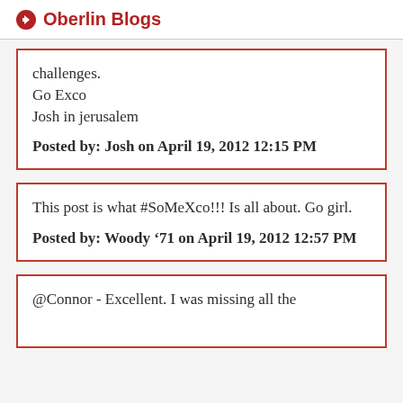Oberlin Blogs
challenges.
Go Exco
Josh in jerusalem
Posted by: Josh on April 19, 2012 12:15 PM
This post is what #SoMeXco!!! Is all about. Go girl.
Posted by: Woody '71 on April 19, 2012 12:57 PM
@Connor - Excellent. I was missing all the